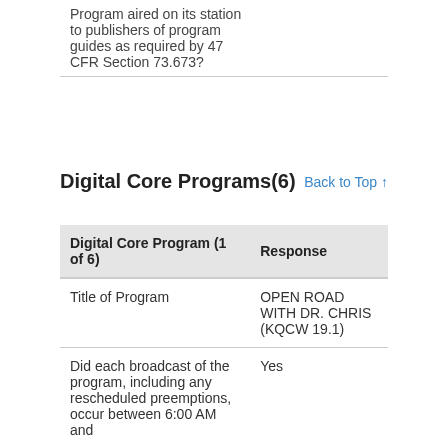|  |  |
| --- | --- |
| Program aired on its station to publishers of program guides as required by 47 CFR Section 73.673? |  |
Digital Core Programs(6)
Back to Top ↑
| Digital Core Program (1 of 6) | Response |
| --- | --- |
| Title of Program | OPEN ROAD WITH DR. CHRIS (KQCW 19.1) |
| Did each broadcast of the program, including any rescheduled preemptions, occur between 6:00 AM and | Yes |